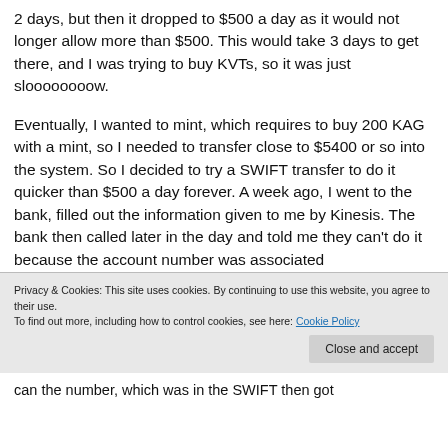2 days, but then it dropped to $500 a day as it would not longer allow more than $500. This would take 3 days to get there, and I was trying to buy KVTs, so it was just sloooooooow.
Eventually, I wanted to mint, which requires to buy 200 KAG with a mint, so I needed to transfer close to $5400 or so into the system. So I decided to try a SWIFT transfer to do it quicker than $500 a day forever. A week ago, I went to the bank, filled out the information given to me by Kinesis. The bank then called later in the day and told me they can't do it because the account number was associated
Privacy & Cookies: This site uses cookies. By continuing to use this website, you agree to their use.
To find out more, including how to control cookies, see here: Cookie Policy
can the number, which was in the SWIFT then got